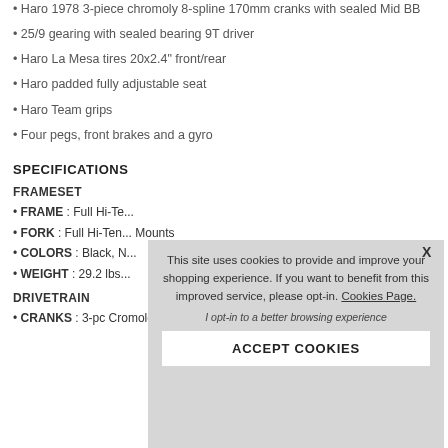Haro 1978 3-piece chromoly 8-spline 170mm cranks with sealed Mid BB
25/9 gearing with sealed bearing 9T driver
Haro La Mesa tires 20x2.4" front/rear
Haro padded fully adjustable seat
Haro Team grips
Four pegs, front brakes and a gyro
SPECIFICATIONS
FRAMESET
FRAME : Full Hi-Te...
FORK : Full Hi-Ten... Mounts
COLORS : Black, N...
WEIGHT : 29.2 lbs...
DRIVETRAIN
CRANKS : 3-pc Chromoly 8-Spline 170mm
This site uses cookies to provide and improve your shopping experience. If you want to benefit from this improved service, please opt-in. Cookies Page.
I opt-in to a better browsing experience
ACCEPT COOKIES